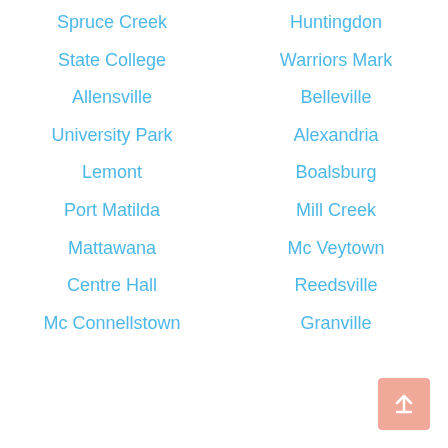Spruce Creek
Huntingdon
State College
Warriors Mark
Allensville
Belleville
University Park
Alexandria
Lemont
Boalsburg
Port Matilda
Mill Creek
Mattawana
Mc Veytown
Centre Hall
Reedsville
Mc Connellstown
Granville